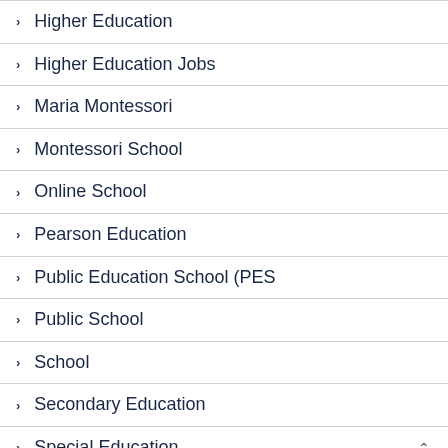Higher Education
Higher Education Jobs
Maria Montessori
Montessori School
Online School
Pearson Education
Public Education School (PES
Public School
School
Secondary Education
Special Education